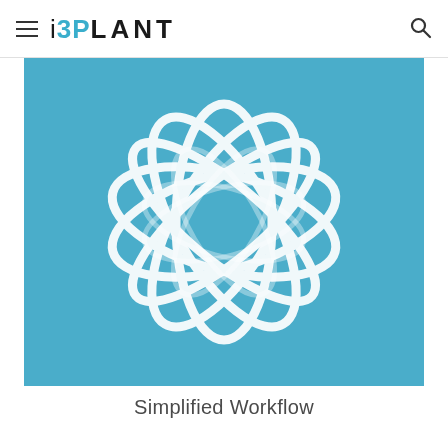iB3PLANT
[Figure (logo): iB3PLANT logo on a blue/teal background — a white geometric sphere-like shape made of overlapping curved ribbon loops forming a globe pattern]
Simplified Workflow